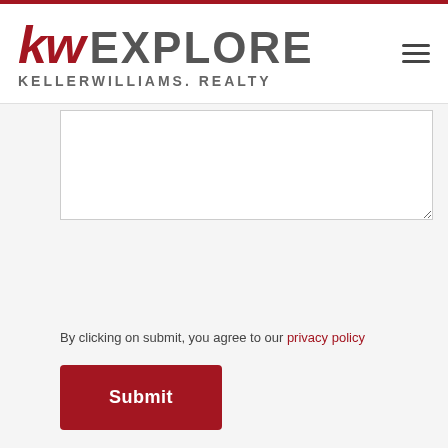[Figure (logo): KW Explore Keller Williams Realty logo with red KW letters and gray EXPLORE and KELLERWILLIAMS. REALTY text]
By clicking on submit, you agree to our privacy policy
Submit